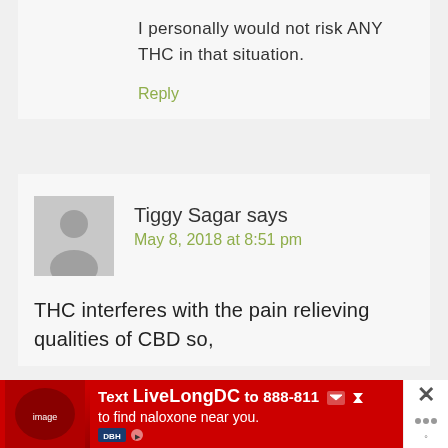I personally would not risk ANY THC in that situation.
Reply
Tiggy Sagar says
May 8, 2018 at 8:51 pm
THC interferes with the pain relieving qualities of CBD so,
[Figure (infographic): Advertisement bar: Text LiveLongDC to 888-811 to find naloxone near you. Red background with logos.]